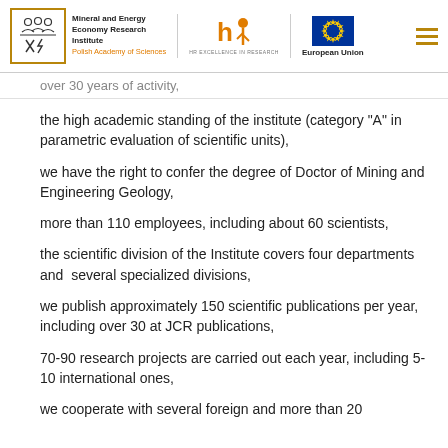Mineral and Energy Economy Research Institute Polish Academy of Sciences | HR Excellence in Research | European Union
over 30 years of activity,
the high academic standing of the institute (category “A” in parametric evaluation of scientific units),
we have the right to confer the degree of Doctor of Mining and Engineering Geology,
more than 110 employees, including about 60 scientists,
the scientific division of the Institute covers four departments and several specialized divisions,
we publish approximately 150 scientific publications per year, including over 30 at JCR publications,
70-90 research projects are carried out each year, including 5-10 international ones,
we cooperate with several foreign and more than 20